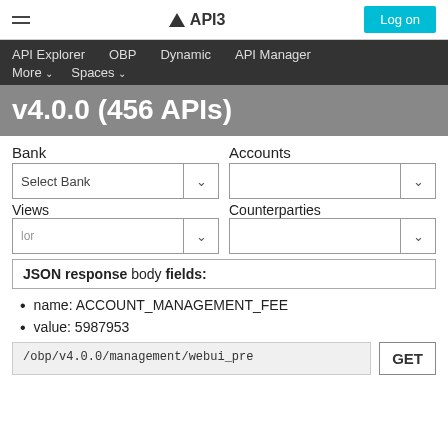API3
API Explorer   OBP   Dynamic   API Manager   More ∨   Spaces ∨
v4.0.0 (456 APIs)
Bank
Accounts
Select Bank
Views
Counterparties
JSON response body fields:
name: ACCOUNT_MANAGEMENT_FEE
value: 5987953
/obp/v4.0.0/management/webui_pre